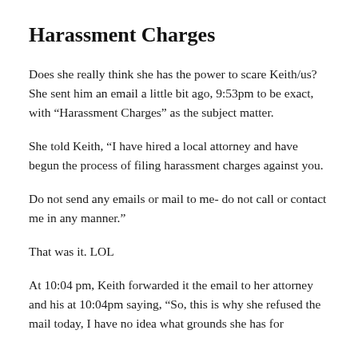Harassment Charges
Does she really think she has the power to scare Keith/us? She sent him an email a little bit ago, 9:53pm to be exact, with “Harassment Charges” as the subject matter.
She told Keith, “I have hired a local attorney and have begun the process of filing harassment charges against you.
Do not send any emails or mail to me- do not call or contact me in any manner.”
That was it. LOL
At 10:04 pm, Keith forwarded it the email to her attorney and his at 10:04pm saying, “So, this is why she refused the mail today, I have no idea what grounds she has for